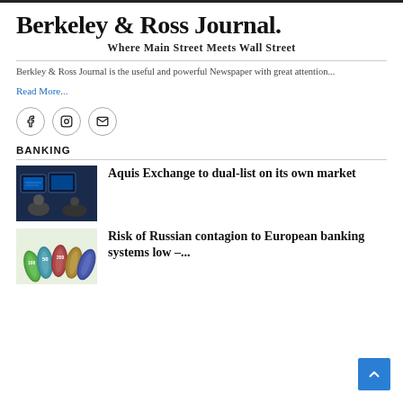Berkeley & Ross Journal.
Where Main Street Meets Wall Street
Berkley & Ross Journal is the useful and powerful Newspaper with great attention...
Read More...
[Figure (other): Social media icons: Facebook, Instagram, Email]
BANKING
[Figure (photo): Person working at trading screens/monitors in a financial environment]
Aquis Exchange to dual-list on its own market
[Figure (photo): Rolled Euro banknotes of various denominations]
Risk of Russian contagion to European banking systems low –...